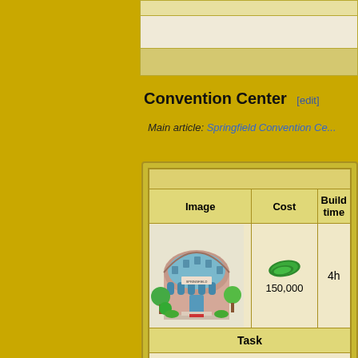Convention Center [edit]
Main article: Springfield Convention Center
| Image | Cost | Build time |
| --- | --- | --- |
| [Springfield Convention Center illustration] | 150,000 | 4h |